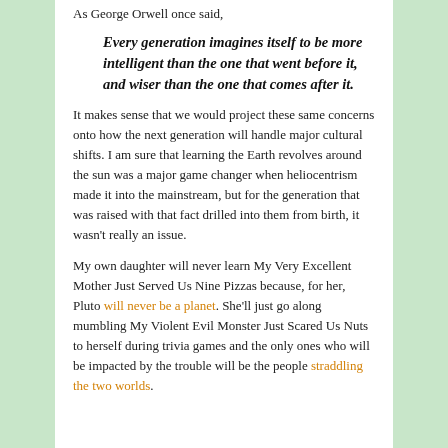As George Orwell once said,
Every generation imagines itself to be more intelligent than the one that went before it, and wiser than the one that comes after it.
It makes sense that we would project these same concerns onto how the next generation will handle major cultural shifts. I am sure that learning the Earth revolves around the sun was a major game changer when heliocentrism made it into the mainstream, but for the generation that was raised with that fact drilled into them from birth, it wasn't really an issue.
My own daughter will never learn My Very Excellent Mother Just Served Us Nine Pizzas because, for her, Pluto will never be a planet. She'll just go along mumbling My Violent Evil Monster Just Scared Us Nuts to herself during trivia games and the only ones who will be impacted by the trouble will be the people straddling the two worlds.